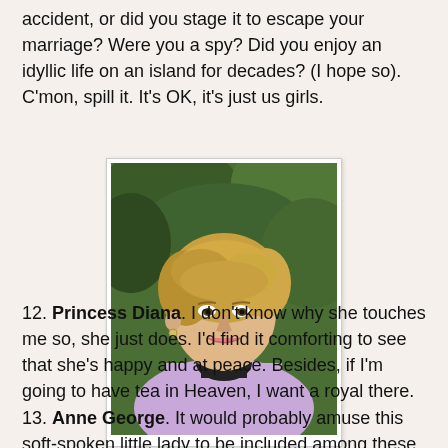accident, or did you stage it to escape your marriage? Were you a spy? Did you enjoy an idyllic life on an island for decades? (I hope so). C’mon, spill it. It’s OK, it’s just us girls.
[Figure (photo): Portrait photograph of Princess Diana wearing a lavender blazer with a black turtleneck, smiling, with short blonde hair, against a green leafy background.]
12. Princess Diana. I don’t know why she touches me so, she just does. I’d find it comforting to see that she’s happy and at peace. Besides, if I’m going to have tea in Heaven, I want a royal there.
13. Anne George. It would probably amuse this soft-spoken little lady to be included among these firebrands and fashion